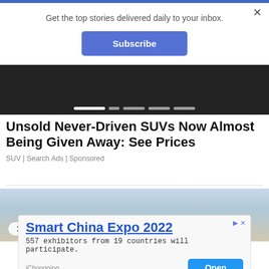Get the top stories delivered daily to your inbox.
Subscribe
[Figure (photo): Dark car undercarriage/roof image with slider navigation dots]
Unsold Never-Driven SUVs Now Almost Being Given Away: See Prices
SUV | Search Ads | Sponsored
[Figure (photo): SUV vehicle photo against sky background with close button]
Smart China Expo 2022
557 exhibitors from 19 countries will participate.
iChongqing
Open